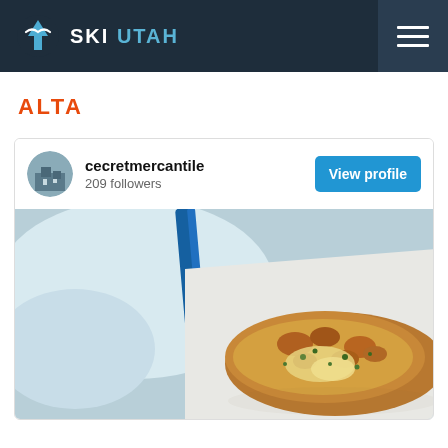SKI UTAH
ALTA
[Figure (screenshot): Instagram-style profile card for 'cecretmercantile' with 209 followers and a View profile button, showing a food photo of a baked dish with melted cheese and toppings on a snowy outdoor background.]